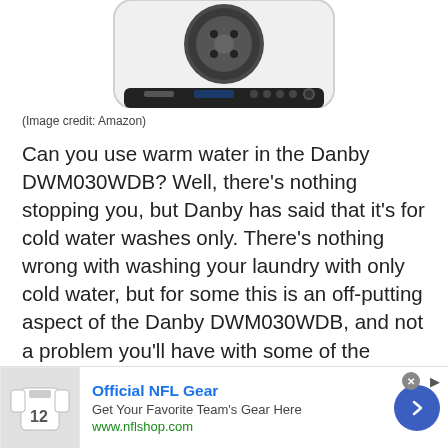[Figure (photo): Partial view of a Danby DWM030WDB portable washing machine, white body with black control panel, shown from above, cropped at top]
(Image credit: Amazon)
Can you use warm water in the Danby DWM030WDB? Well, there's nothing stopping you, but Danby has said that it's for cold water washes only. There's nothing wrong with washing your laundry with only cold water, but for some this is an off-putting aspect of the Danby DWM030WDB, and not a problem you'll have with some of the larger options out there. If you do want the option of hot washes when buying a washer, consider the GE GNW128PSMWW.
[Figure (photo): Advertisement banner: Official NFL Gear - Get Your Favorite Team's Gear Here - www.nflshop.com, with NFL jersey image on left and blue arrow button on right]